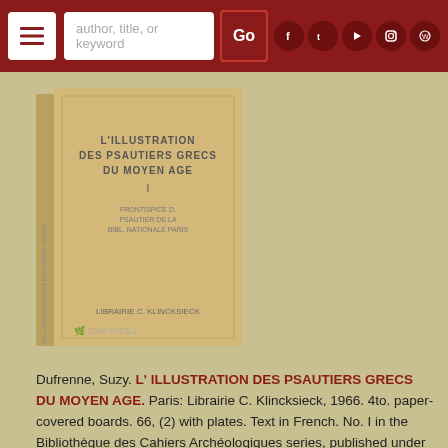author, title, or keyword | Go | [social icons]
[Figure (photo): Book cover photo of 'L'Illustration des Psautiers Grecs du Moyen Age' with Oak Knoll watermark]
Dufrenne, Suzy. L' ILLUSTRATION DES PSAUTIERS GRECS DU MOYEN AGE. Paris: Librairie C. Klincksieck, 1966. 4to. paper-covered boards. 66, (2) with plates. Text in French. No. I in the Bibliothèque des Cahiers Archéologiques series, published under the direction of André Grabar and Jean Hubert. A study of three medieval Greek psalters: Pantocrator 61, Paris Grec 20 and British Museum 40731. Preface by Grabar. Foreword and bibliography. Description of the general characteristics of each psalter, with detailed descriptive information on each folio. Two pages of color..... READ MORE